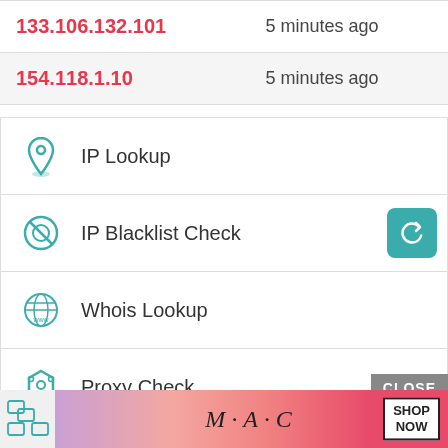| IP | Time |
| --- | --- |
| 133.106.132.101 | 5 minutes ago |
| 154.118.1.10 | 5 minutes ago |
IP Lookup
IP Blacklist Check
Whois Lookup
Proxy Check
DNS Lookup
IP to Hostname lookup
[Figure (screenshot): MAC cosmetics advertisement banner with lipsticks and SHOP NOW button]